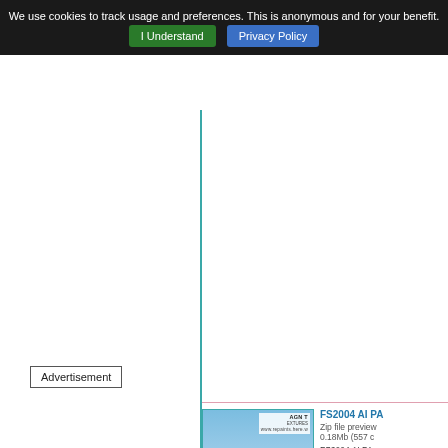We use cookies to track usage and preferences. This is anonymous and for your benefit.  I Understand  Privacy Policy
Advertisement
FS2004 AI PA
Zip file preview 0.18Mb (557 c
FS2004 AI PA repaint of the Nott of AGN T
here)
Posted Jun 2
[Figure (photo): Military jet aircraft (Tornado-style) in flight against blue sky, with AGN Textures watermark logo in top right corner]
FS2004 AI PA
Zip file preview 0.18Mb (822 c
FS2004 AI PA repaint of the Nott of AGN T
[Figure (photo): Red and white jet aircraft (display team style) against light sky, with AGN Textures watermark logo in top right corner]